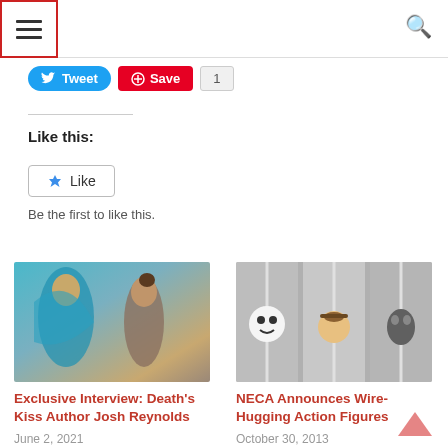Navigation menu and search
[Figure (screenshot): Twitter Tweet button (blue pill), Pinterest Save button (red), count badge showing 1]
Like this:
[Figure (screenshot): WordPress Like button widget with star icon, text 'Like'. Below: 'Be the first to like this.']
[Figure (photo): Photo thumbnail for article: Exclusive Interview: Death's Kiss Author Josh Reynolds. Shows fantasy artwork with two figures.]
Exclusive Interview: Death's Kiss Author Josh Reynolds
June 2, 2021
[Figure (photo): Photo thumbnail for article: NECA Announces Wire-Hugging Action Figures. Shows three small figurines hanging on wires.]
NECA Announces Wire-Hugging Action Figures
October 30, 2013